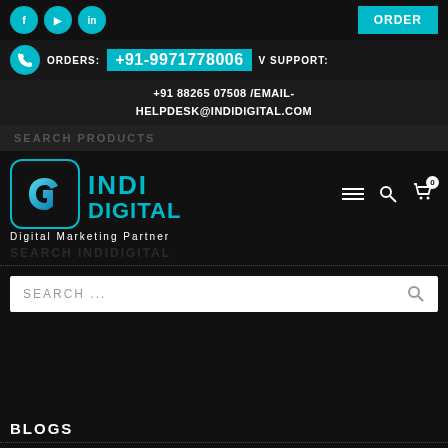[Figure (infographic): Top navigation bar with social media icons (Facebook, YouTube, LinkedIn) on left and ORDER button on right]
ORDERS: +91-9971778006 V SUPPORT:
+91 88265 07508 /EMAIL- HELPDESK@INDIDIGITAL.COM
SEARCH PRODUCTS
[Figure (logo): Indi Digital logo with blue D icon and teal text reading INDI DIGITAL with tagline Digital Marketing Partner]
Digital Marketing Partner
SEARCH INDIDIGITAL
SEARCH ...
BLOGS